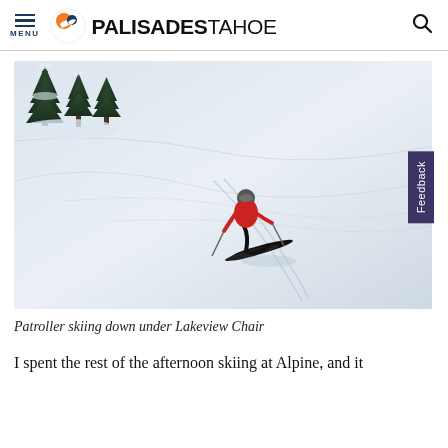MENU | PALISADES TAHOE
[Figure (photo): A ski patroller in a red jacket skiing down a groomed snow slope under Lakeview Chair, with pine trees visible in the upper left background. A purple 'Feedback' tab is visible on the right edge of the image.]
Patroller skiing down under Lakeview Chair
I spent the rest of the afternoon skiing at Alpine, and it